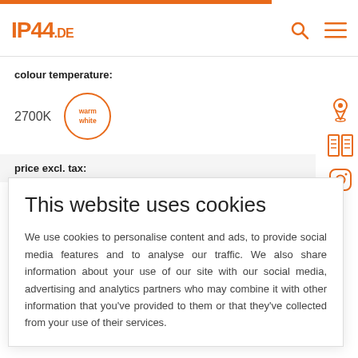IP44.DE
colour temperature:
2700K warm white
price excl. tax:
This website uses cookies
We use cookies to personalise content and ads, to provide social media features and to analyse our traffic. We also share information about your use of our site with our social media, advertising and analytics partners who may combine it with other information that you've provided to them or that they've collected from your use of their services.